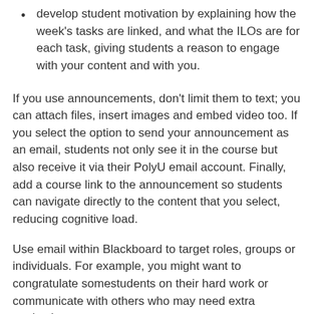develop student motivation by explaining how the week's tasks are linked, and what the ILOs are for each task, giving students a reason to engage with your content and with you.
If you use announcements, don't limit them to text; you can attach files, insert images and embed video too. If you select the option to send your announcement as an email, students not only see it in the course but also receive it via their PolyU email account. Finally, add a course link to the announcement so students can navigate directly to the content that you select, reducing cognitive load.
Use email within Blackboard to target roles, groups or individuals. For example, you might want to congratulate somestudents on their hard work or communicate with others who may need extra motivation or encouragement.